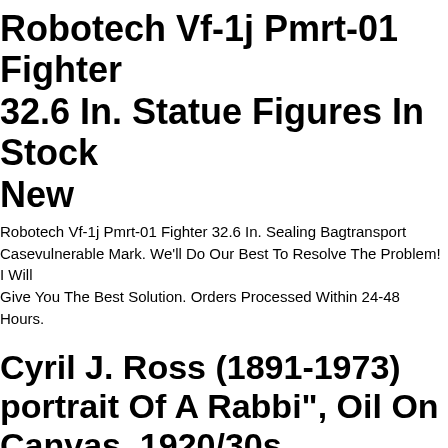Robotech Vf-1j Pmrt-01 Fighter 32.6 In. Statue Figures In Stock New
Robotech Vf-1j Pmrt-01 Fighter 32.6 In. Sealing Bagtransport Casevulnerable Mark. We'll Do Our Best To Resolve The Problem! I Will Give You The Best Solution. Orders Processed Within 24-48 Hours.
Cyril J. Ross (1891-1973) portrait Of A Rabbi", Oil On Canvas, 1920/30s
Cyril J. Ross (1891-1973 Zurich) Was A Well-known Jewish Philanthropist, Patron Of The Arts And A Talented Painter. He Had Also Served As Treasurer The Jewish National Fund. He Achieved Distrinction With A Series Of Oil Paintings In Tradytional Style Which Were Exhibited In London And In Paris
...